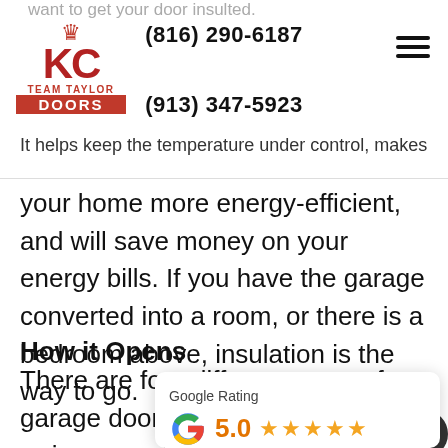want to get your door insulted.
(816) 290-6187
(913) 347-5923
It helps keep the temperature under control, makes
[Figure (logo): KC Team Taylor Doors logo with crown icon, red letters KC, TEAM TAYLOR text, and red DOORS banner]
your home more energy-efficient, and will save money on your energy bills. If you have the garage converted into a room, or there is a bedroom above, insulation is the way to go.
How it Opens
There are four different types of garage doors. Doors that swing up, swing out, and roll up. A garage door that sw... option if you need to keep your ceiling clear.
[Figure (infographic): Google Rating widget showing 5.0 stars based on 432 reviews with Google G logo]